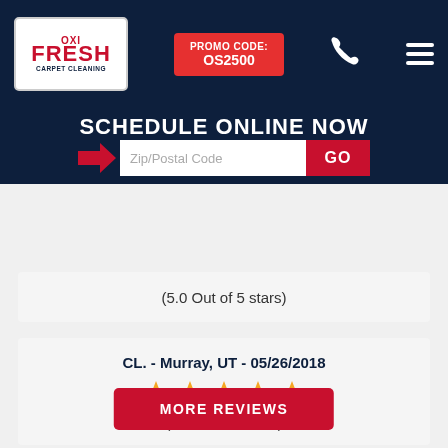[Figure (logo): Oxi Fresh Carpet Cleaning logo with red and blue text on white background]
PROMO CODE: OS2500
SCHEDULE ONLINE NOW
(5.0 Out of 5 stars)
CL. - Murray, UT - 05/26/2018
[Figure (illustration): Five gold star rating icons]
(5.0 Out of 5 stars)
MORE REVIEWS